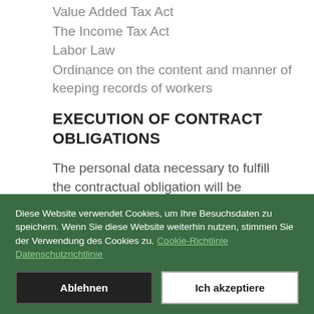Value Added Tax Act
The Income Tax Act
Labor Law
Ordinance on the content and manner of keeping records of workers
EXECUTION OF CONTRACT OBLIGATIONS
The personal data necessary to fulfill the contractual obligation will be
Diese Website verwendet Cookies, um Ihre Besuchsdaten zu speichern. Wenn Sie diese Website weiterhin nutzen, stimmen Sie der Verwendung des Cookies zu. Cookie-Richtlinie  Datenschutzrichtlinie
Ablehnen  Ich akzeptiere